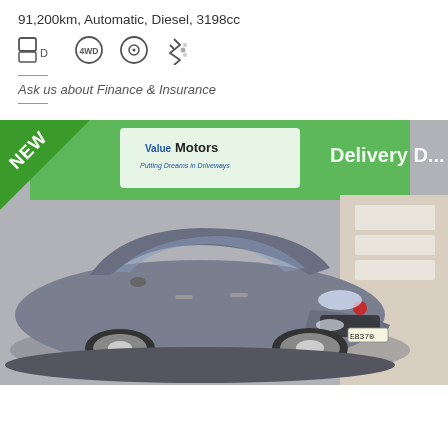91,200km, Automatic, Diesel, 3198cc
[Figure (infographic): Row of icons: dual-screen/display icon, 4WD icon, camera/GPS icon, Bluetooth icon]
Ask us about Finance & Insurance
[Figure (photo): Photo of a grey Mazda 3 MPS sedan on a showroom turntable at Value Motors dealership. A green 'NEW' triangle badge is in the top-left corner of the photo. The Value Motors logo and 'Delivery De...' text are visible in the background.]